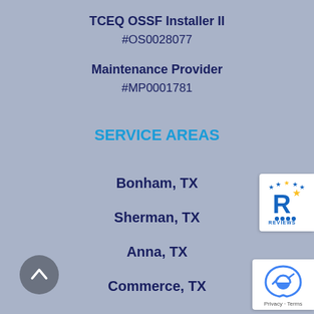TCEQ OSSF Installer II
#OS0028077
Maintenance Provider
#MP0001781
SERVICE AREAS
Bonham, TX
Sherman, TX
Anna, TX
Commerce, TX